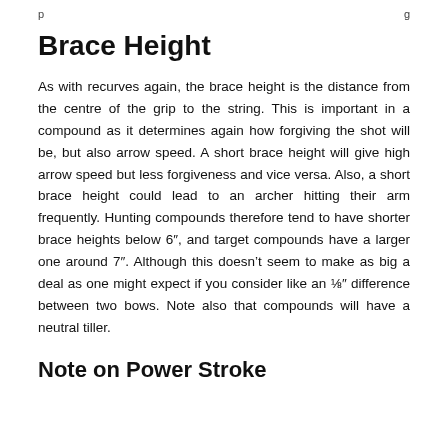... g
Brace Height
As with recurves again, the brace height is the distance from the centre of the grip to the string. This is important in a compound as it determines again how forgiving the shot will be, but also arrow speed. A short brace height will give high arrow speed but less forgiveness and vice versa. Also, a short brace height could lead to an archer hitting their arm frequently. Hunting compounds therefore tend to have shorter brace heights below 6″, and target compounds have a larger one around 7″. Although this doesn't seem to make as big a deal as one might expect if you consider like an ⅛″ difference between two bows. Note also that compounds will have a neutral tiller.
Note on Power Stroke